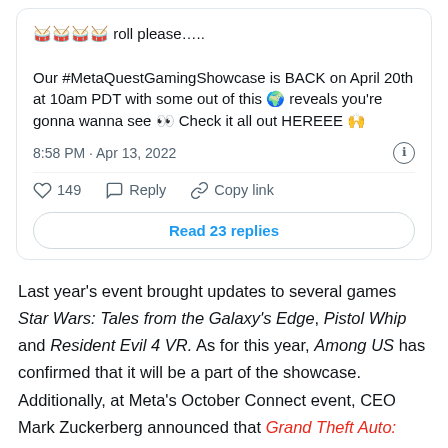🥁🥁🥁🥁 roll please…..

Our #MetaQuestGamingShowcase is BACK on April 20th at 10am PDT with some out of this 🌍 reveals you're gonna wanna see 👀 Check it all out HEREEE 🙌
8:58 PM · Apr 13, 2022
♡ 149   Reply   Copy link
Read 23 replies
Last year's event brought updates to several games Star Wars: Tales from the Galaxy's Edge, Pistol Whip and Resident Evil 4 VR. As for this year, Among US has confirmed that it will be a part of the showcase. Additionally, at Meta's October Connect event, CEO Mark Zuckerberg announced that Grand Theft Auto: San